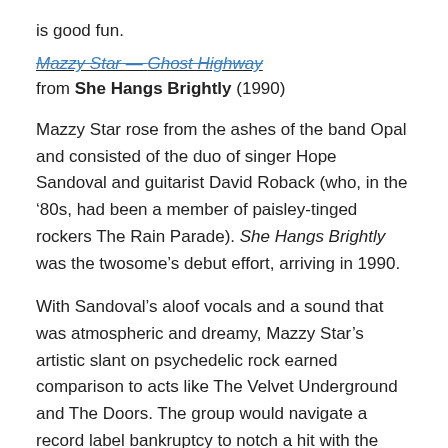is good fun.
Mazzy Star — Ghost Highway
from She Hangs Brightly (1990)
Mazzy Star rose from the ashes of the band Opal and consisted of the duo of singer Hope Sandoval and guitarist David Roback (who, in the ‘80s, had been a member of paisley-tinged rockers The Rain Parade). She Hangs Brightly was the twosome’s debut effort, arriving in 1990.
With Sandoval’s aloof vocals and a sound that was atmospheric and dreamy, Mazzy Star’s artistic slant on psychedelic rock earned comparison to acts like The Velvet Underground and The Doors. The group would navigate a record label bankruptcy to notch a hit with the wispy Fade Into You three years later.